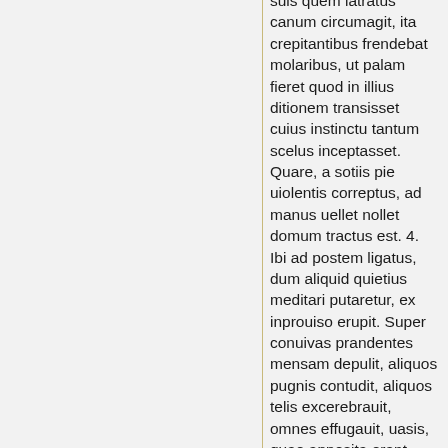suis quem latratus canum circumagit, ita crepitantibus frendebat molaribus, ut palam fieret quod in illius ditionem transisset cuius instinctu tantum scelus inceptasset. Quare, a sotiis pie uiolentis correptus, ad manus uellet nollet domum tractus est. 4. Ibi ad postem ligatus, dum aliquid quietius meditari putaretur, ex inprouiso erupit. Super conuivas prandentes mensam depulit, aliquos pugnis contudit, aliquos telis excerebrauit, omnes effugauit, uasis, quae apposita erant, pro armis usus. At uero sotii, qui miserum non relinquendum putarent, in cuneum conglobati, dementem iterum corripiunt, artioribusque loris constrictum ad sepulchrum pertrahunt. 5. Ibi, tribus uigilatis noctibus